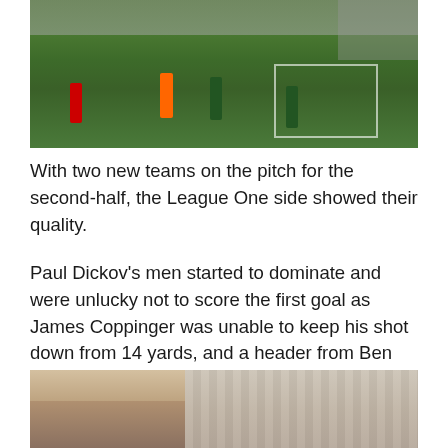[Figure (photo): Soccer/football match action photo showing players on a green pitch near a goal, with stadium seating visible in the background. Players in red/white, orange (referee), and green/dark jerseys.]
With two new teams on the pitch for the second-half, the League One side showed their quality.
Paul Dickov's men started to dominate and were unlucky not to score the first goal as James Coppinger was unable to keep his shot down from 14 yards, and a header from Ben Askins flew over after meeting a corner from Theo Robinson.
[Figure (photo): Stadium photo showing rows of mostly empty light-colored seats, with a few spectators visible, taken from pitch level looking toward the stands.]